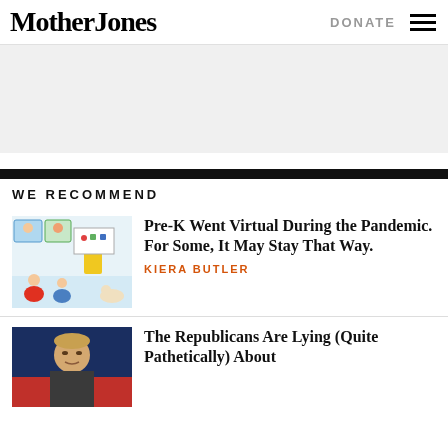Mother Jones | DONATE
[Figure (other): Ad banner placeholder with light gray background]
WE RECOMMEND
[Figure (illustration): Illustration of children and teacher in a virtual/remote classroom setting with colorful cartoon style]
Pre-K Went Virtual During the Pandemic. For Some, It May Stay That Way.
KIERA BUTLER
[Figure (photo): Photo of a Republican politician speaking, dark blue/red background]
The Republicans Are Lying (Quite Pathetically) About